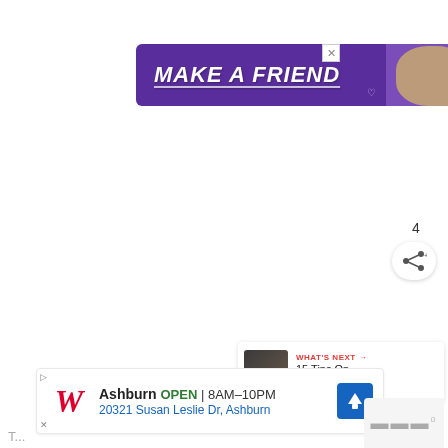[Figure (photo): Advertisement banner with purple background showing 'MAKE A FRIEND' text in white italic bold font with underline, and a dog image on the right side with heart symbols]
[Figure (other): Red circular like/heart button with white heart icon, showing count of 4 below, and a share button below that]
[Figure (other): What's Next panel showing a thumbnail image and text 'WHAT'S NEXT → 15 Tips On How To Mak...']
[Figure (other): Walgreens local advertisement showing 'Ashburn OPEN | 8AM-10PM' and address '20321 Susan Leslie Dr, Ashburn' with map icon]